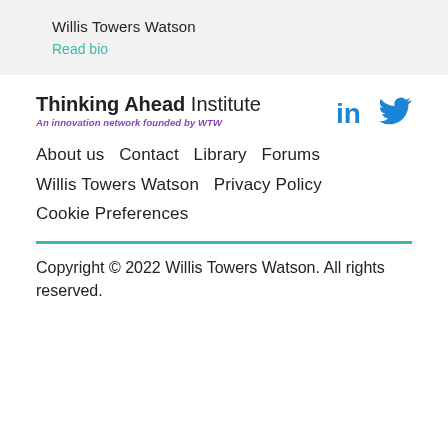Willis Towers Watson
Read bio
Thinking Ahead Institute
An innovation network founded by WTW
About us   Contact   Library   Forums
Willis Towers Watson   Privacy Policy
Cookie Preferences
Copyright © 2022 Willis Towers Watson. All rights reserved.